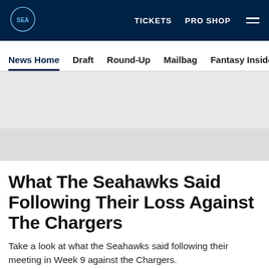TICKETS  PRO SHOP
News Home  Draft  Round-Up  Mailbag  Fantasy Insider  Roster
What The Seahawks Said Following Their Loss Against The Chargers
Take a look at what the Seahawks said following their meeting in Week 9 against the Chargers.